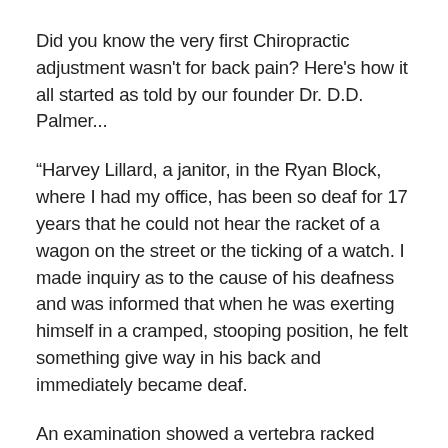Did you know the very first Chiropractic adjustment wasn't for back pain? Here's how it all started as told by our founder Dr. D.D. Palmer...
“Harvey Lillard, a janitor, in the Ryan Block, where I had my office, has been so deaf for 17 years that he could not hear the racket of a wagon on the street or the ticking of a watch. I made inquiry as to the cause of his deafness and was informed that when he was exerting himself in a cramped, stooping position, he felt something give way in his back and immediately became deaf.
An examination showed a vertebra racked from its normal position. I reasoned that if